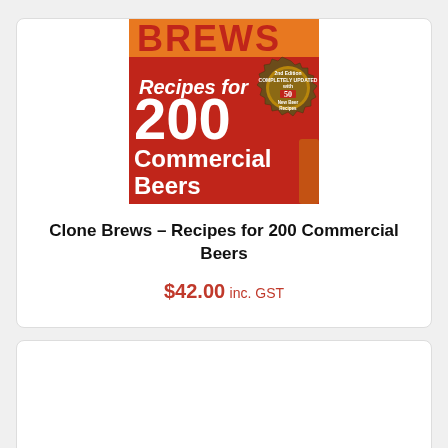[Figure (photo): Book cover of 'Clone Brews – Recipes for 200 Commercial Beers, 2nd Edition Completely Updated with 50 New Beer Recipes'. Red background with white text, orange top strip, and a bottle cap badge.]
Clone Brews – Recipes for 200 Commercial Beers
$42.00 inc. GST